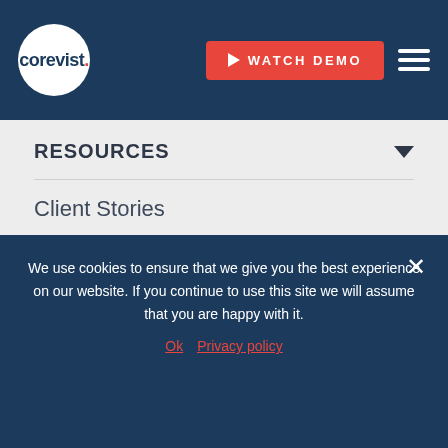corevist. | WATCH DEMO
RESOURCES
Client Stories
Use Cases
Guides
Webinars
Blog
ROI Calculator
We use cookies to ensure that we give you the best experience on our website. If you continue to use this site we will assume that you are happy with it.
Ok  Privacy policy